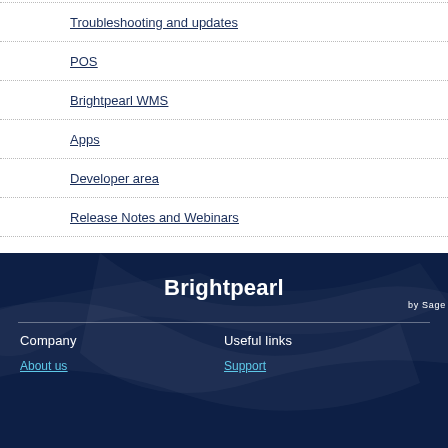Troubleshooting and updates
POS
Brightpearl WMS
Apps
Developer area
Release Notes and Webinars
[Figure (logo): Brightpearl by Sage logo in white text on dark navy background]
Company
Useful links
About us
Support